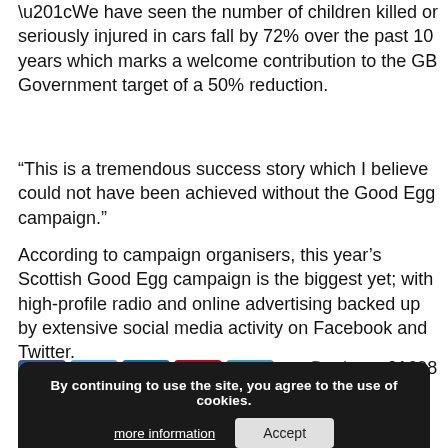“We have seen the number of children killed or seriously injured in cars fall by 72% over the past 10 years which marks a welcome contribution to the GB Government target of a 50% reduction.
“This is a tremendous success story which I believe could not have been achieved without the Good Egg campaign.”
According to campaign organisers, this year’s Scottish Good Egg campaign is the biggest yet; with high-profile radio and online advertising backed up by extensive social media activity on Facebook and Twitter.
For more information contact James Davitt on 01698 453 857.
[Figure (other): Social media share icons: Facebook, Twitter, LinkedIn, Pinterest, Email]
By continuing to use the site, you agree to the use of cookies. more information | Accept